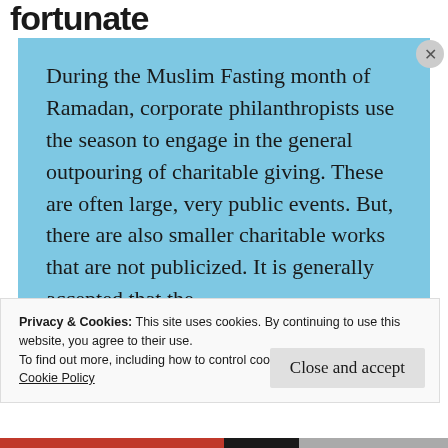fortunate
During the Muslim Fasting month of Ramadan, corporate philanthropists use the season to engage in the general outpouring of charitable giving. These are often large, very public events. But, there are also smaller charitable works that are not publicized. It is generally accepted that the…
Privacy & Cookies: This site uses cookies. By continuing to use this website, you agree to their use.
To find out more, including how to control cookies, see here:
Cookie Policy
Close and accept